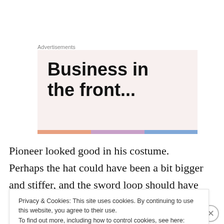Advertisements
[Figure (illustration): Advertisement banner with text 'Business in the front...' on a light pink/beige background with colored stripes at the bottom]
Pioneer looked good in his costume.  Perhaps the hat could have been a bit bigger and stiffer, and the sword loop should have been higher, but basically it came out
Privacy & Cookies: This site uses cookies. By continuing to use this website, you agree to their use.
To find out more, including how to control cookies, see here: Cookie Policy
Close and accept